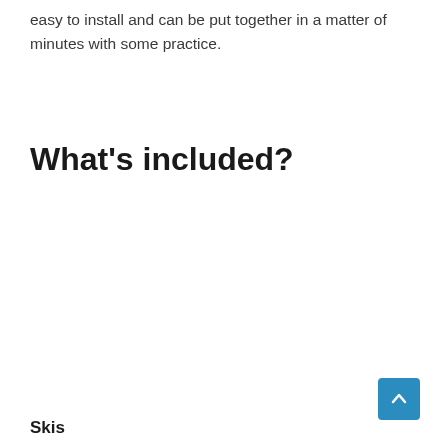easy to install and can be put together in a matter of minutes with some practice.
What's included?
Skis